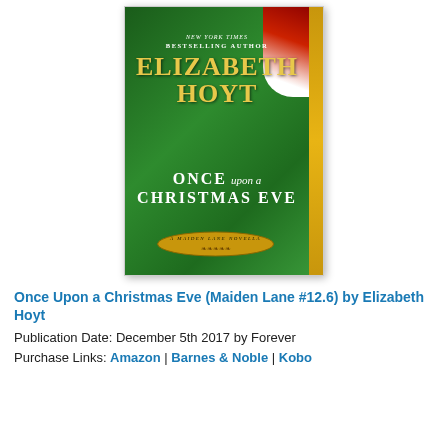[Figure (illustration): Book cover of 'Once Upon a Christmas Eve' by Elizabeth Hoyt. Features a woman in a green velvet dress with red and white accents in the top right corner. Author name 'ELIZABETH HOYT' in large gold letters. Subtitle 'NEW YORK TIMES BESTSELLING AUTHOR'. Title reads 'ONCE upon a CHRISTMAS EVE'. Gold banner at bottom reads 'A MAIDEN LANE NOVELLA'.]
Once Upon a Christmas Eve (Maiden Lane #12.6) by Elizabeth Hoyt
Publication Date: December 5th 2017 by Forever
Purchase Links: Amazon | Barnes & Noble | Kobo